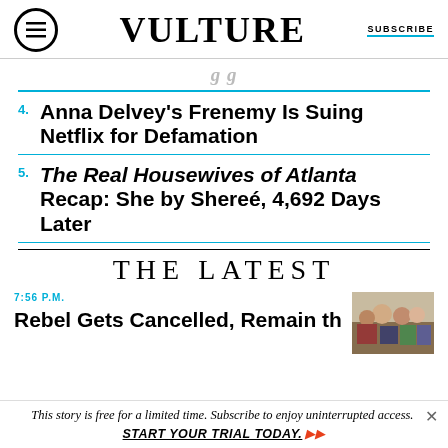VULTURE | SUBSCRIBE
4. Anna Delvey's Frenemy Is Suing Netflix for Defamation
5. The Real Housewives of Atlanta Recap: She by Shereé, 4,692 Days Later
THE LATEST
7:56 P.M.
[Figure (photo): Group of people including young adults and teenagers, appears to be a TV show still]
This story is free for a limited time. Subscribe to enjoy uninterrupted access. START YOUR TRIAL TODAY.